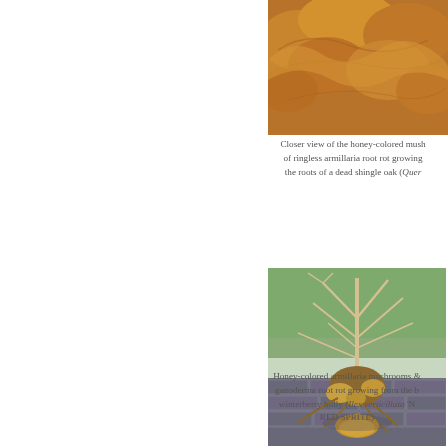[Figure (photo): Close-up view of honey-colored mushrooms of ringless armillaria root rot, brown textured fungal caps visible]
Closer view of the honey-colored mushrooms of ringless armillaria root rot growing from the roots of a dead shingle oak (Quer...
[Figure (photo): A bare-branched winterberry holly plant uprooted and placed on brick pavement, showing root system and mushroom/fungal growth at the base]
Honey-colored armillaria mushrooms and ganoderma root rot growing from the base of a winterberry holly (Ilex verticillata 'N... RED SPRITE)